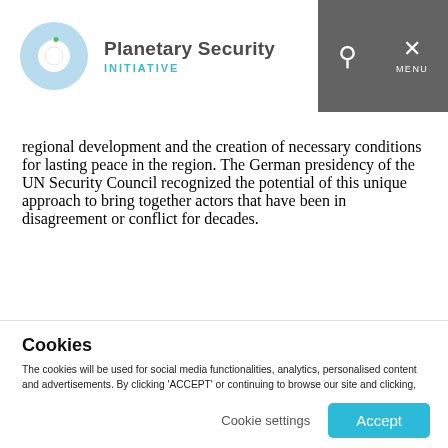Planetary Security INITIATIVE
regional development and the creation of necessary conditions for lasting peace in the region. The German presidency of the UN Security Council recognized the potential of this unique approach to bring together actors that have been in disagreement or conflict for decades.
[Figure (photo): Partial photo strip showing people at what appears to be a meeting or conference]
Cookies
The cookies will be used for social media functionalities, analytics, personalised content and advertisements. By clicking 'ACCEPT' or continuing to browse our site and clicking, you agree to such use and to share your data. You can obtain more information about our use of cookies via the 'Cookie settings'.